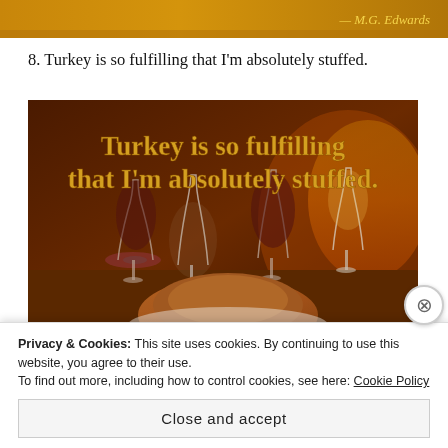[Figure (photo): Top banner image with golden/amber background and '— M.G. Edwards' text in gold on the right side]
8. Turkey is so fulfilling that I'm absolutely stuffed.
[Figure (photo): Thanksgiving dinner table scene with wine glasses, a roasted turkey, and warm fireplace lighting in background. Gold bold text overlay reads: 'Turkey is so fulfilling that I'm absolutely stuffed.']
Privacy & Cookies: This site uses cookies. By continuing to use this website, you agree to their use.
To find out more, including how to control cookies, see here: Cookie Policy
Close and accept